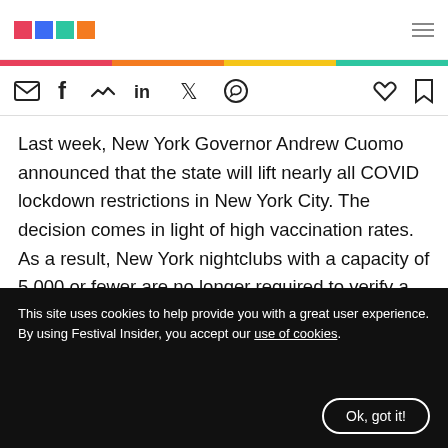Festival Insider logo and navigation header
[Figure (other): Share/action icon bar with email, Facebook, Messenger, LinkedIn, Twitter, WhatsApp icons on left; heart and bookmark icons on right]
Last week, New York Governor Andrew Cuomo announced that the state will lift nearly all COVID lockdown restrictions in New York City. The decision comes in light of high vaccination rates. As a result, New York nightclubs with a capacity of 5,000 or fewer are no longer required to verify a negative COVID test or proof of vaccination.
“What New York has done is extraordinary.” Cuomo said. New York now has the lowest COVID positive rate in the US
This site uses cookies to help provide you with a great user experience. By using Festival Insider, you accept our use of cookies.